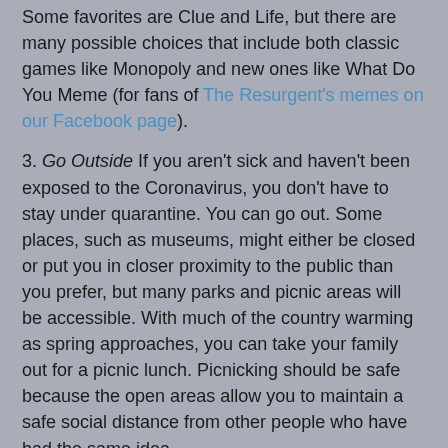Some favorites are Clue and Life, but there are many possible choices that include both classic games like Monopoly and new ones like What Do You Meme (for fans of The Resurgent's memes on our Facebook page).
3. Go Outside If you aren't sick and haven't been exposed to the Coronavirus, you don't have to stay under quarantine. You can go out. Some places, such as museums, might either be closed or put you in closer proximity to the public than you prefer, but many parks and picnic areas will be accessible. With much of the country warming as spring approaches, you can take your family out for a picnic lunch. Picnicking should be safe because the open areas allow you to maintain a safe social distance from other people who have had the same idea.
You could also go walking or hiking. Parks often have hiking trails but even walking along your street will get you out of the house and into nature. I often walk with our dogs, Rocky, the min pin mix (we think), and Ginger, the one-eyed Shiba Inu. They aren't as famous as Jonah Goldberg's pooches, but they are still pretty cool and they love to go for walks. Often, I'll take a bag to pick up trash along the road to help